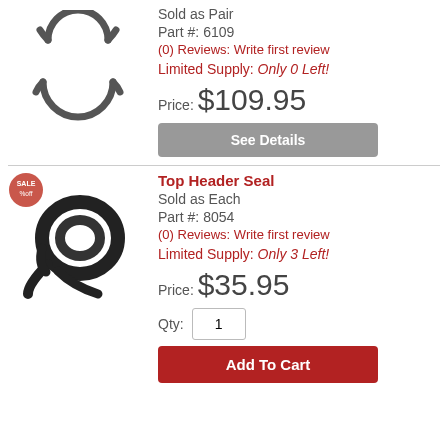[Figure (photo): Retaining ring / circlip pair shown as gray line drawing against white background]
Sold as Pair
Part #: 6109
(0) Reviews: Write first review
Limited Supply: Only 0 Left!
Price: $109.95
See Details
[Figure (photo): Top Header Seal - black rubber seal coiled, with small red sale badge in top left corner]
Top Header Seal
Sold as Each
Part #: 8054
(0) Reviews: Write first review
Limited Supply: Only 3 Left!
Price: $35.95
Qty: 1
Add To Cart